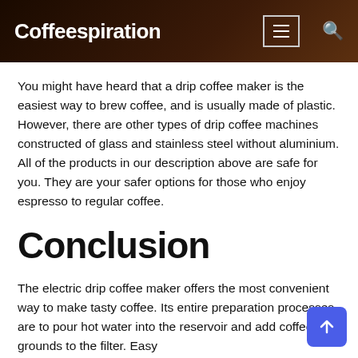Coffeespiration
You might have heard that a drip coffee maker is the easiest way to brew coffee, and is usually made of plastic. However, there are other types of drip coffee machines constructed of glass and stainless steel without aluminium. All of the products in our description above are safe for you. They are your safer options for those who enjoy espresso to regular coffee.
Conclusion
The electric drip coffee maker offers the most convenient way to make tasty coffee. Its entire preparation processes are to pour hot water into the reservoir and add coffee grounds to the filter. Easy